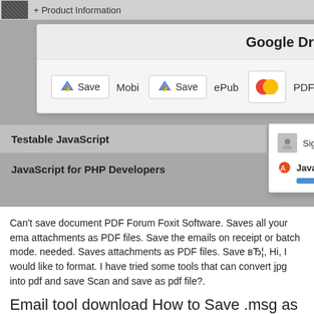[Figure (screenshot): Screenshot of a web page showing a Google Drive popup with Save buttons for Mobi, ePub, and PDF formats, a signed-in user dropdown showing 'feedb...' and a JavaScript Enlightenment book with progress bar, and a book list including 'Testable JavaScript' and 'JavaScript for PHP Developers'.]
Can't save document PDF Forum Foxit Software. Saves all your ema attachments as PDF files. Save the emails on receipt or batch mode. needed. Saves attachments as PDF files. Save вЂ¦, Hi, I would like to format. I have tried some tools that can convert jpg into pdf and save Scan and save as pdf file?.
Email tool download How to Save .msg as PDF - How
Can't save document PDF Forum Foxit Software. There are plenty of